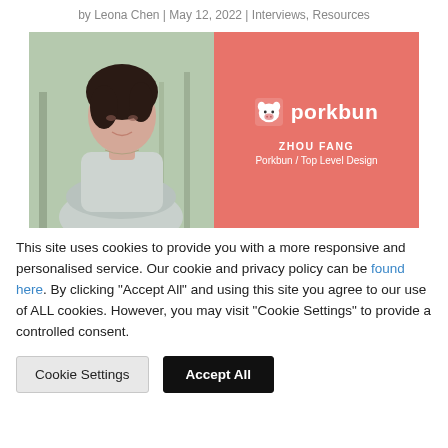by Leona Chen | May 12, 2022 | Interviews, Resources
[Figure (photo): Split image: left half shows a photo of Zhou Fang (a woman with short dark hair, wearing a light grey top, arms crossed, outdoors with trees in background); right half is a salmon/coral colored panel with the Porkbun logo (pig icon + 'porkbun' text) and text 'ZHOU FANG / Porkbun / Top Level Design']
This site uses cookies to provide you with a more responsive and personalised service. Our cookie and privacy policy can be found here. By clicking "Accept All" and using this site you agree to our use of ALL cookies. However, you may visit "Cookie Settings" to provide a controlled consent.